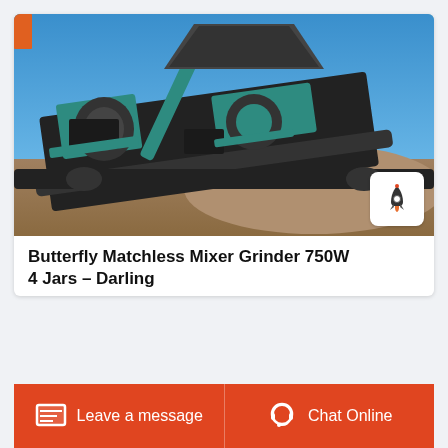[Figure (photo): Large industrial teal/green screening or crushing machine (appears to be a screening plant or impact crusher) photographed outdoors against a blue sky, positioned on a gravel/dirt surface. The machine has a conveyor belt system and is predominantly dark grey and teal green in color.]
Butterfly Matchless Mixer Grinder 750W 4 Jars – Darling
Leave a message
Chat Online